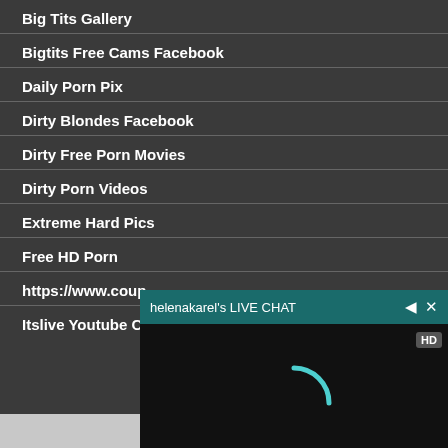Big Tits Gallery
Bigtits Free Cams Facebook
Daily Porn Pix
Dirty Blondes Facebook
Dirty Free Porn Movies
Dirty Porn Videos
Extreme Hard Pics
Free HD Porn
https://www.coup
Itslive Youtube Cli
[Figure (screenshot): Live chat overlay window titled 'helenakarel's LIVE CHAT' with HD video player showing a loading spinner arc on black background]